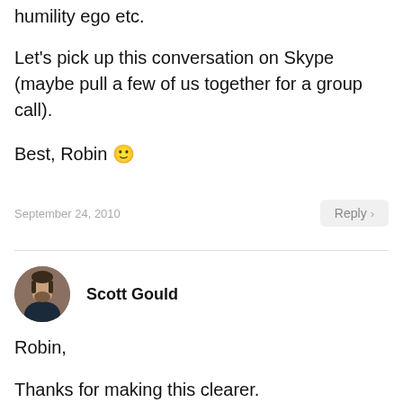humility ego etc.
Let’s pick up this conversation on Skype (maybe pull a few of us together for a group call).
Best, Robin 😊
September 24, 2010
[Figure (other): Reply button with chevron arrow]
[Figure (photo): Avatar photo of Scott Gould, a man with beard in dark shirt]
Scott Gould
Robin,
Thanks for making this clearer.